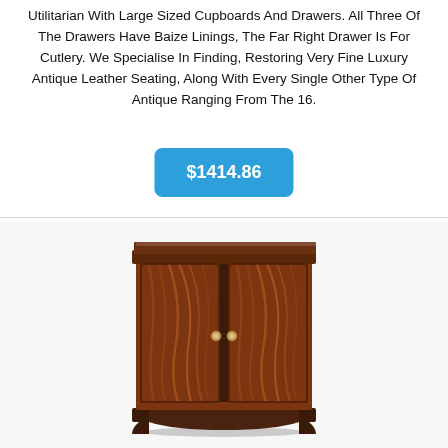Utilitarian With Large Sized Cupboards And Drawers. All Three Of The Drawers Have Baize Linings, The Far Right Drawer Is For Cutlery. We Specialise In Finding, Restoring Very Fine Luxury Antique Leather Seating, Along With Every Single Other Type Of Antique Ranging From The 16.
$1414.86
[Figure (photo): Antique wooden cabinet with two doors featuring ornate wood grain veneer, brass knob handles, and bracket feet base.]